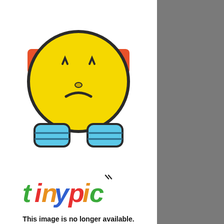[Figure (illustration): Tinypic.com placeholder image showing a sad yellow smiley face emoji with headphones and the tinypic logo, with text 'This image is no longer available. Visit tinypic.com for more information.']
Bon Jovi - Old Trafford - June 26th 2003
City Of Manchester Stadium - June 4th 2006
City Of Manchester Stadium - June 22nd 2008
[Figure (screenshot): NFL Shop advertisement showing a Dallas Cowboys jersey, text 'NFL Shop', 'Free shipping on orders over $25', 'www.nflshop.com', and a blue arrow button]